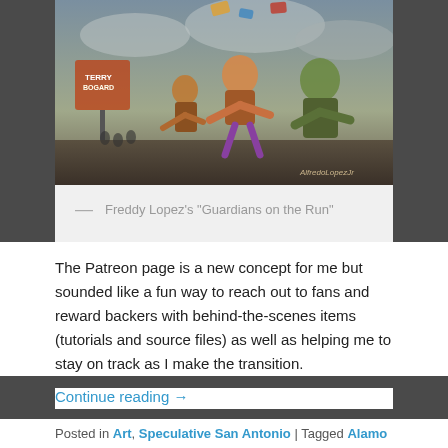[Figure (illustration): Freddy Lopez's 'Guardians on the Run' — colorful fantasy/comic artwork showing superhero characters in action against a moody sky background, with 'AlfredoLopezJr' watermark]
— Freddy Lopez's "Guardians on the Run"
The Patreon page is a new concept for me but sounded like a fun way to reach out to fans and reward backers with behind-the-scenes items (tutorials and source files) as well as helping me to stay on track as I make the transition.
Continue reading →
Posted in Art, Speculative San Antonio | Tagged Alamo City Comics, Alfredo Lopez Jr., Ant Man, Avengers, Bernie Wrightson, Boris, Chris Dibari, Chris Mills, Comic books, Danny Trejo, Dwight MacPherson, Fantasy art, Frank